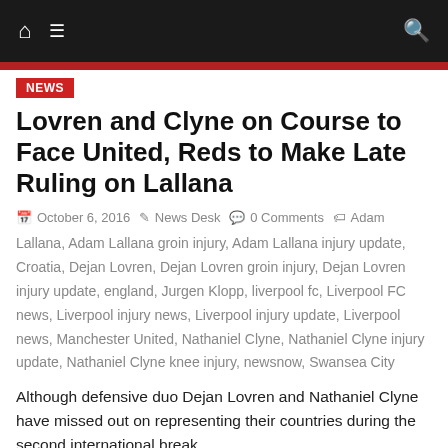Navigation bar with home, menu, and search icons
Lovren and Clyne on Course to Face United, Reds to Make Late Ruling on Lallana
October 6, 2016  News Desk  0 Comments  Adam Lallana, Adam Lallana groin injury, Adam Lallana injury update, Croatia, Dejan Lovren, Dejan Lovren groin injury, Dejan Lovren injury update, england, Jurgen Klopp, liverpool fc, Liverpool FC news, Liverpool injury news, Liverpool injury update, Liverpool news, Manchester United, Nathaniel Clyne, Nathaniel Clyne injury update, Nathaniel Clyne knee injury, newsnow, Swansea City
Although defensive duo Dejan Lovren and Nathaniel Clyne have missed out on representing their countries during the second international break